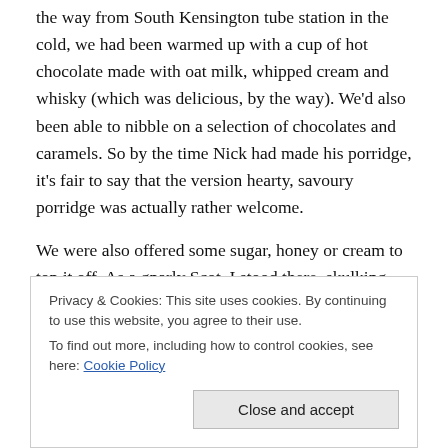Now, I should confess that by this stage, having walked all the way from South Kensington tube station in the cold, we had been warmed up with a cup of hot chocolate made with oat milk, whipped cream and whisky (which was delicious, by the way). We'd also been able to nibble on a selection of chocolates and caramels. So by the time Nick had made his porridge, it's fair to say that the version hearty, savoury porridge was actually rather welcome.
We were also offered some sugar, honey or cream to top it off. As a gnarly Scot, I stood there, skulking, and ate it unadorned…and I'll let you muse on the idea of me
Privacy & Cookies: This site uses cookies. By continuing to use this website, you agree to their use.
To find out more, including how to control cookies, see here: Cookie Policy